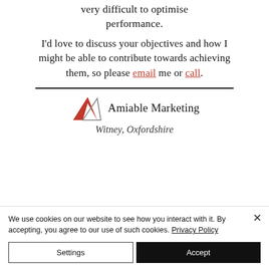very difficult to optimise performance.
I'd love to discuss your objectives and how I might be able to contribute towards achieving them, so please email me or call.
[Figure (logo): Amiable Marketing logo with red and grey triangle mountains and company name 'Amiable Marketing']
Witney, Oxfordshire
We use cookies on our website to see how you interact with it. By accepting, you agree to our use of such cookies. Privacy Policy
Settings
Accept